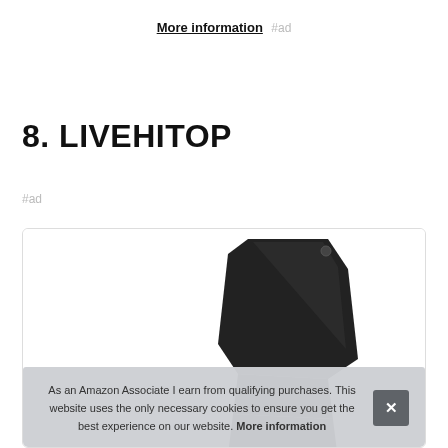More information #ad
8. LIVEHITOP
#ad
[Figure (photo): Product image of a dark/black angled device (LIVEHITOP product) shown in a white bordered card]
As an Amazon Associate I earn from qualifying purchases. This website uses the only necessary cookies to ensure you get the best experience on our website. More information